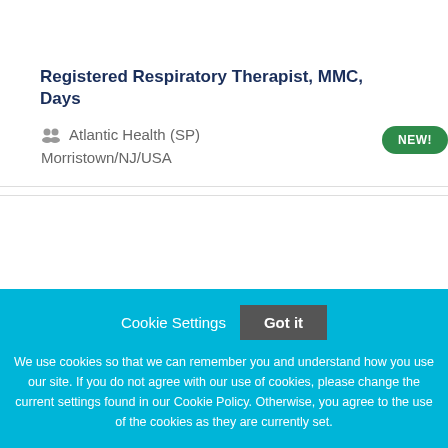[Figure (logo): Partial logo visible at top with orange/blue triangle shapes]
Registered Respiratory Therapist, MMC, Days
Atlantic Health (SP)
Morristown/NJ/USA
NEW!
Cookie Settings  Got it
We use cookies so that we can remember you and understand how you use our site. If you do not agree with our use of cookies, please change the current settings found in our Cookie Policy. Otherwise, you agree to the use of the cookies as they are currently set.